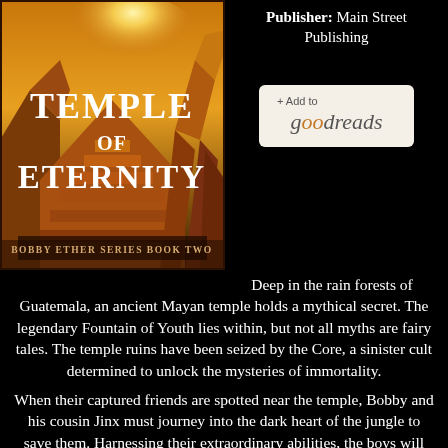[Figure (illustration): Book cover for 'Temple of Eternity' — Bobby Ether Series Book Two. Shows a dramatic Mayan temple glowing golden-orange against a dark sky with the title in large white serif letters.]
Publisher: Main Street Publishing
[Figure (logo): + Add to goodreads button — cream/beige rounded rectangle with Goodreads logo text in brown and grey]
Deep in the rain forests of Guatemala, an ancient Mayan temple holds a mythical secret. The legendary Fountain of Youth lies within, but not all myths are fairy tales. The temple ruins have been seized by the Core, a sinister cult determined to unlock the mysteries of immortality.
When their captured friends are spotted near the temple, Bobby and his cousin Jinx must journey into the dark heart of the jungle to save them. Harnessing their extraordinary abilities, the boys will undertake an epic